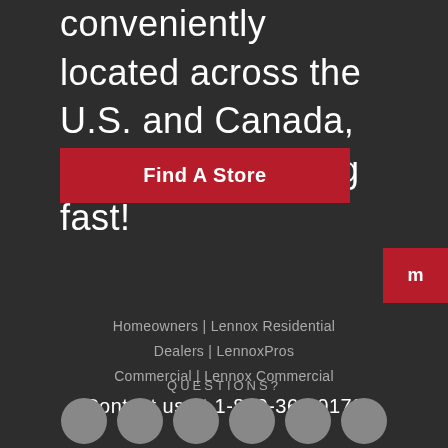conveniently located across the U.S. and Canada, and we're growing fast!
Find A Store
Homeowners | Lennox Residential Dealers | LennoxPros Commercial | Lennox Commercial
QUESTIONS?
Contact us at 1-800-360-0178
[Figure (other): Social media icon circles at bottom of page]